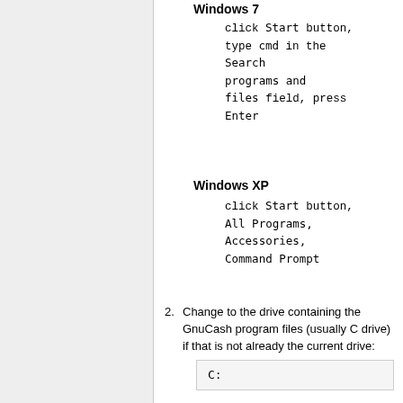Windows 7
click Start button, type cmd in the Search programs and files field, press Enter
Windows XP
click Start button, All Programs, Accessories, Command Prompt
2. Change to the drive containing the GnuCash program files (usually C drive) if that is not already the current drive:
C: